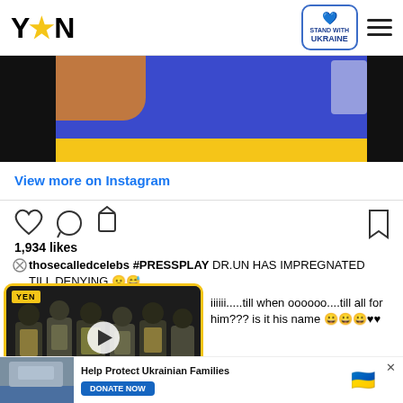YEN — Stand with Ukraine
[Figure (photo): Cropped image showing a person in a blue garment with a yellow bar at the bottom, black bars on the sides]
View more on Instagram
[Figure (screenshot): Instagram action icons: heart, comment, share, bookmark]
1,934 likes
thosecalledcelebs #PRESSPLAY DR.UN HAS IMPREGNATED TILL DENYING 😦😅
iiiiii.....till when oooooo....till all for him??? is it his name 😀😀😀♥♥
[Figure (screenshot): YEN video player showing soldiers in tactical gear. Caption: GHANA NTI: BRING BACK OUR TADI GIRLS]
[Figure (screenshot): Bottom advertisement: Help Protect Ukrainian Families — DONATE NOW button with Ukrainian heart icon]
Help Protect Ukrainian Families — DONATE NOW